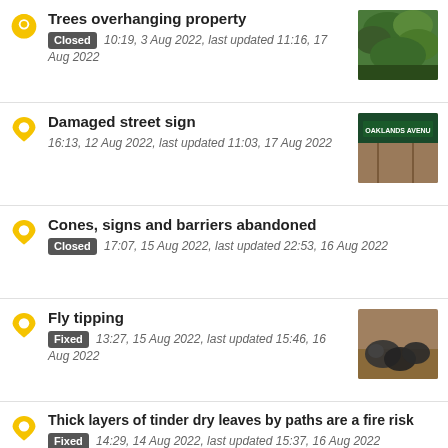Trees overhanging property — Closed 10:19, 3 Aug 2022, last updated 11:16, 17 Aug 2022
Damaged street sign — 16:13, 12 Aug 2022, last updated 11:03, 17 Aug 2022
Cones, signs and barriers abandoned — Closed 17:07, 15 Aug 2022, last updated 22:53, 16 Aug 2022
Fly tipping — Fixed 13:27, 15 Aug 2022, last updated 15:46, 16 Aug 2022
Thick layers of tinder dry leaves by paths are a fire risk — Fixed 14:29, 14 Aug 2022, last updated 15:37, 16 Aug 2022